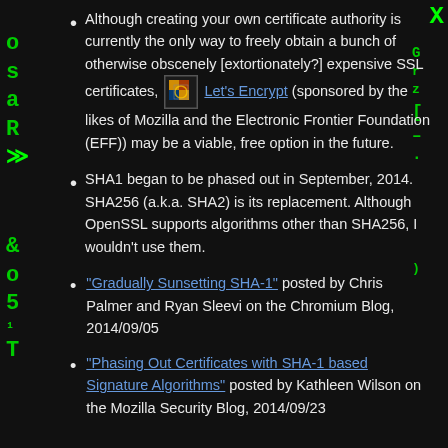Although creating your own certificate authority is currently the only way to freely obtain a bunch of otherwise obscenely [extortionately?] expensive SSL certificates, Let's Encrypt (sponsored by the likes of Mozilla and the Electronic Frontier Foundation (EFF)) may be a viable, free option in the future.
SHA1 began to be phased out in September, 2014. SHA256 (a.k.a. SHA2) is its replacement. Although OpenSSL supports algorithms other than SHA256, I wouldn't use them.
"Gradually Sunsetting SHA-1" posted by Chris Palmer and Ryan Sleevi on the Chromium Blog, 2014/09/05
"Phasing Out Certificates with SHA-1 based Signature Algorithms" posted by Kathleen Wilson on the Mozilla Security Blog, 2014/09/23
Learn More
Learn about OpenSSL configuration files.